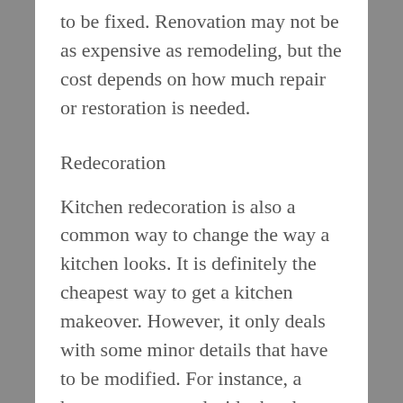to be fixed. Renovation may not be as expensive as remodeling, but the cost depends on how much repair or restoration is needed.
Redecoration
Kitchen redecoration is also a common way to change the way a kitchen looks. It is definitely the cheapest way to get a kitchen makeover. However, it only deals with some minor details that have to be modified. For instance, a homeowner may decide the change the wallpaper or paint and replace the furniture or